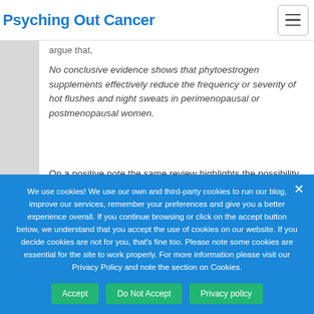Psyching Out Cancer
argue that,
No conclusive evidence shows that phytoestrogen supplements effectively reduce the frequency or severity of hot flushes and night sweats in perimenopausal or postmenopausal women.
On a positive note the same review highlights the possibility of a positive outcome from genistein and
We use cookies! We use our own and third-party cookies to run our blog, improve our services, remember your preferences and give you a better experience overall. If you continue browsing or click on the accept button below, we understand that you accept the use of cookies on our website. If you decide cookies are not for you, that's fine too. Please note some cookies are essential for the site to work properly. For more information please visit our Privacy Policy and note the section on Cookies.
Accept
Do Not Accept
Privacy policy